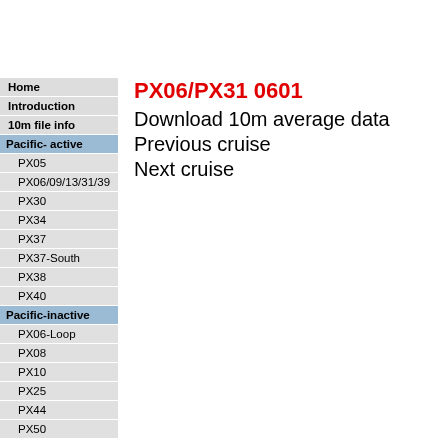Home
Introduction
10m file info
Pacific- active
PX05
PX06/09/13/31/39
PX30
PX34
PX37
PX37-South
PX38
PX40
Pacific-inactive
PX06-Loop
PX08
PX10
PX25
PX44
PX50
PX06/PX31 0601
Download 10m average data
Previous cruise
Next cruise